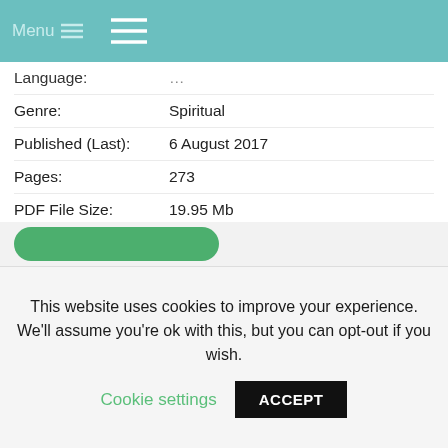Menu ☰
| Field | Value |
| --- | --- |
| Genre: | Spiritual |
| Published (Last): | 6 August 2017 |
| Pages: | 273 |
| PDF File Size: | 19.95 Mb |
| ePub File Size: | 2.96 Mb |
| ISBN: | 385-2-34706-839-4 |
| Downloads: | 95089 |
| Price: | Free* [*Free Regsitration Required] |
| Uploader: | Shakazahn |
This website uses cookies to improve your experience. We'll assume you're ok with this, but you can opt-out if you wish.
Cookie settings
ACCEPT